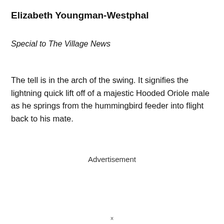Elizabeth Youngman-Westphal
Special to The Village News
The tell is in the arch of the swing. It signifies the lightning quick lift off of a majestic Hooded Oriole male as he springs from the hummingbird feeder into flight back to his mate.
Advertisement
x